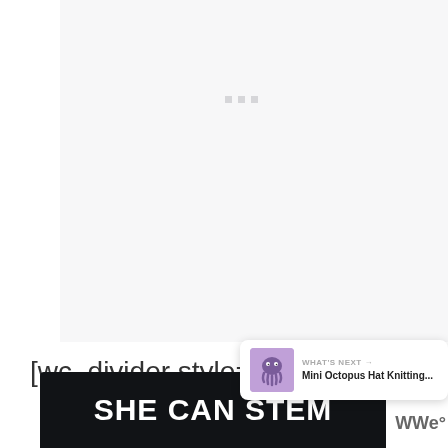[Figure (screenshot): Light gray/white content area with three small gray squares in the center (loading placeholder or UI element)]
[Figure (infographic): Like button (heart icon in salmon/coral circle), count '312', and share button (circle with share icon). 'What's Next' popup showing a purple octopus hat knitting thumbnail with label 'WHAT'S NEXT →' and title 'Mini Octopus Hat Knitting...']
[wc_divider style="solid" line= single
[Figure (screenshot): Dark banner with white bold text 'SHE CAN STEM' and a partial side label]
WWe